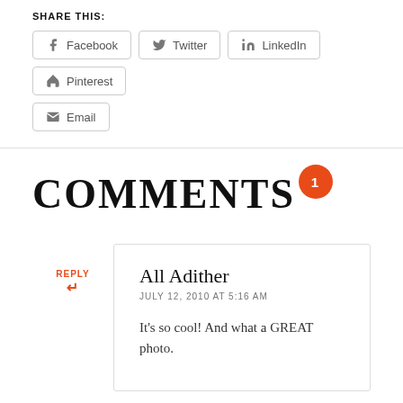SHARE THIS:
Facebook  Twitter  LinkedIn  Pinterest  Email
COMMENTS 1
REPLY
All Adither
JULY 12, 2010 AT 5:16 AM
It's so cool! And what a GREAT photo.